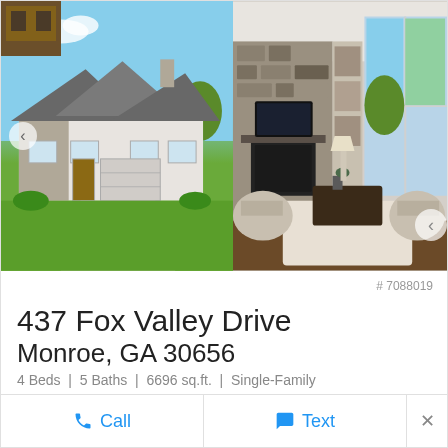[Figure (photo): Real estate listing card showing exterior photo of a gray single-family home with green lawn on the left, and an interior living room photo on the right]
# 7088019
437 Fox Valley Drive
Monroe, GA 30656
4 Beds | 5 Baths | 6696 sq.ft. | Single-Family
♡ $975,000 ● Active
Call   Text   ×